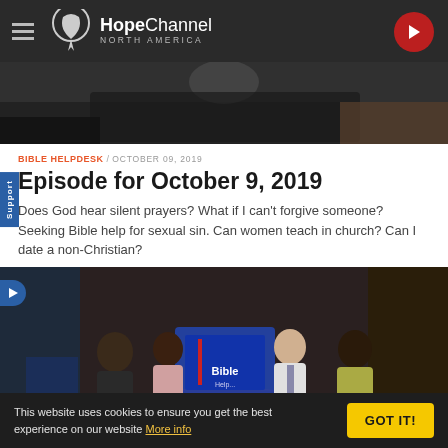Hope Channel NORTH AMERICA
[Figure (screenshot): Video thumbnail with dark background, blurred studio scene at top]
BIBLE HELPDESK / OCTOBER 09, 2019
Episode for October 9, 2019
Does God hear silent prayers? What if I can't forgive someone? Seeking Bible help for sexual sin. Can women teach in church? Can I date a non-Christian?
[Figure (photo): Studio photo: four people seated around a round table with a Bible Helpdesk sign, in a TV studio setting]
This website uses cookies to ensure you get the best experience on our website More info